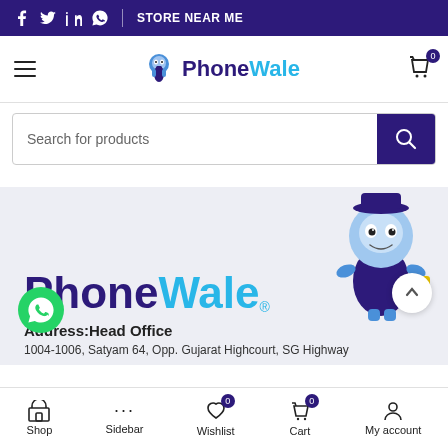Social icons | STORE NEAR ME
[Figure (logo): PhoneWale logo with mascot character in navigation bar]
Search for products
[Figure (logo): PhoneWale large brand logo with mascot character in hero section]
Address:Head Office
1004-1006, Satyam 64, Opp. Gujarat Highcourt, SG Highway
Shop | Sidebar | Wishlist 0 | Cart 0 | My account